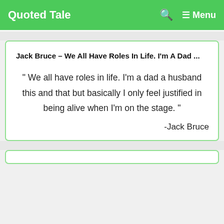Quoted Tale  🔍  ≡ Menu
Jack Bruce – We All Have Roles In Life. I'm A Dad ...
" We all have roles in life. I'm a dad a husband this and that but basically I only feel justified in being alive when I'm on the stage. "
-Jack Bruce